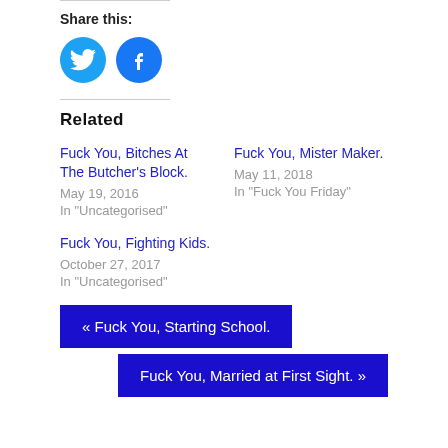Share this:
[Figure (illustration): Twitter and Facebook social share icon buttons (blue circles with white bird and f logos)]
Related
Fuck You, Bitches At The Butcher's Block.
May 19, 2016
In "Uncategorised"
Fuck You, Mister Maker.
May 11, 2018
In "Fuck You Friday"
Fuck You, Fighting Kids.
October 27, 2017
In "Uncategorised"
« Fuck You, Starting School.
Fuck You, Married at First Sight. »